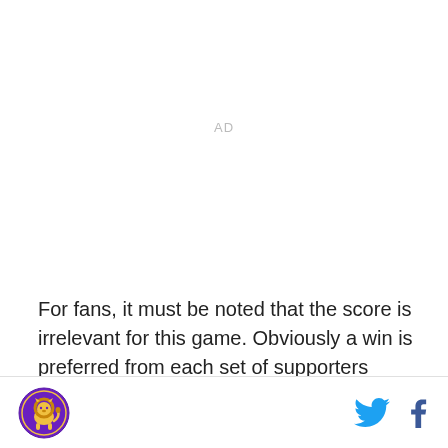AD
For fans, it must be noted that the score is irrelevant for this game. Obviously a win is preferred from each set of supporters respectively, but both teams will be experimenting as they get ready for World Cup qualifiers. Serbia's team, which is currently undefeated
Logo | Twitter | Facebook